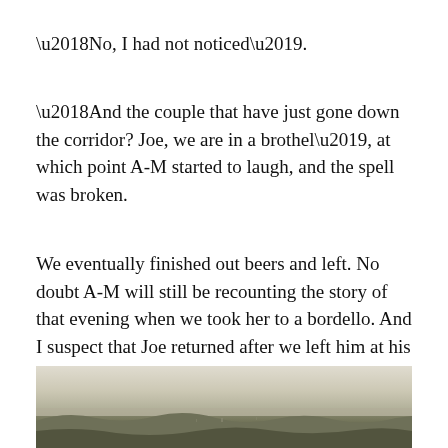‘No, I had not noticed’.
‘And the couple that have just gone down the corridor?  Joe, we are in a brothel’, at which point A-M started to laugh, and the spell was broken.
We eventually finished out beers and left.  No doubt A-M will still be recounting the story of that evening when we took her to a bordello.  And I suspect that Joe returned after we left him at his hostel.
[Figure (photo): Landscape photograph showing a hazy sky over distant hills or terrain, taken from an elevated viewpoint.]